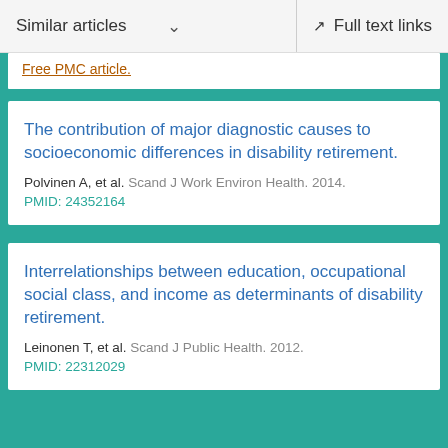Similar articles  ∨  Full text links
Free PMC article.
The contribution of major diagnostic causes to socioeconomic differences in disability retirement.
Polvinen A, et al. Scand J Work Environ Health. 2014.
PMID: 24352164
Interrelationships between education, occupational social class, and income as determinants of disability retirement.
Leinonen T, et al. Scand J Public Health. 2012.
PMID: 22312029